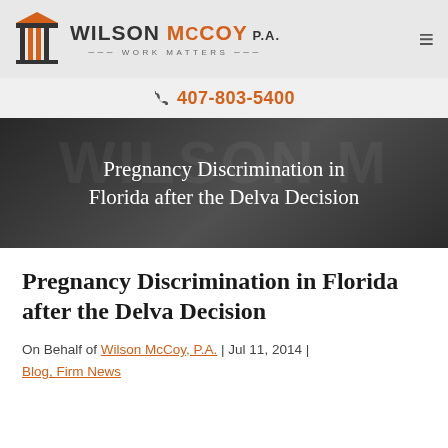[Figure (logo): Wilson McCoy P.A. law firm logo with columned building icon, firm name in grey and orange, tagline WORK MATTERS]
407-803-5400
Pregnancy Discrimination in Florida after the Delva Decision
Pregnancy Discrimination in Florida after the Delva Decision
On Behalf of Wilson McCoy, P.A. | Jul 11, 2014 | Blog, Firm News